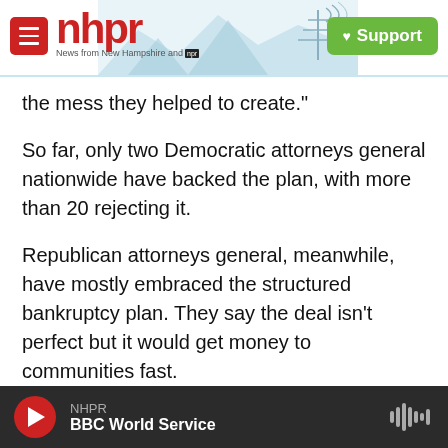[Figure (logo): NHPR logo with hamburger menu, mountain/radio tower illustration, and green Support button]
the mess they helped to create."
So far, only two Democratic attorneys general nationwide have backed the plan, with more than 20 rejecting it.
Republican attorneys general, meanwhile, have mostly embraced the structured bankruptcy plan. They say the deal isn't perfect but it would get money to communities fast.
"It is, I think, the best deal that can be obtained," said Dave Yost, the attorney general in Ohio, in an
NHPR
BBC World Service